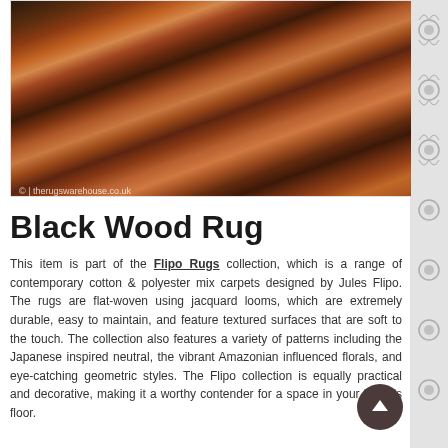[Figure (photo): Close-up photo of a Black Wood Rug showing dark brown and red horizontal stripe pattern with a watermark reading '© | therugswarehouse.co.uk']
Black Wood Rug
This item is part of the Flipo Rugs collection, which is a range of contemporary cotton & polyester mix carpets designed by Jules Flipo. The rugs are flat-woven using jacquard looms, which are extremely durable, easy to maintain, and feature textured surfaces that are soft to the touch. The collection also features a variety of patterns including the Japanese inspired neutral, the vibrant Amazonian influenced florals, and eye-catching geometric styles. The Flipo collection is equally practical and decorative, making it a worthy contender for a space in your home's floor.